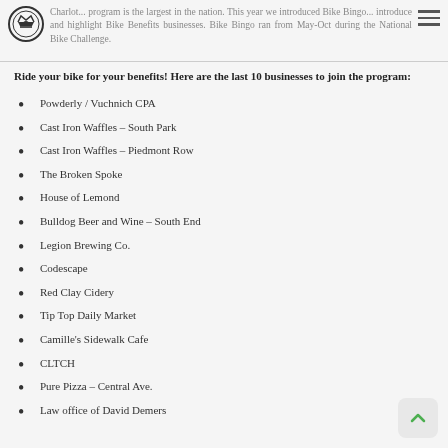Charlotte program is the largest in the nation. This year we introduced Bike Bingo to introduce and highlight Bike Benefits businesses. Bike Bingo ran from May-Oct during the National Bike Challenge.
Ride your bike for your benefits! Here are the last 10 businesses to join the program:
Powderly / Vuchnich CPA
Cast Iron Waffles – South Park
Cast Iron Waffles – Piedmont Row
The Broken Spoke
House of Lemond
Bulldog Beer and Wine – South End
Legion Brewing Co.
Codescape
Red Clay Cidery
Tip Top Daily Market
Camille's Sidewalk Cafe
CLTCH
Pure Pizza – Central Ave.
Law office of David Demers